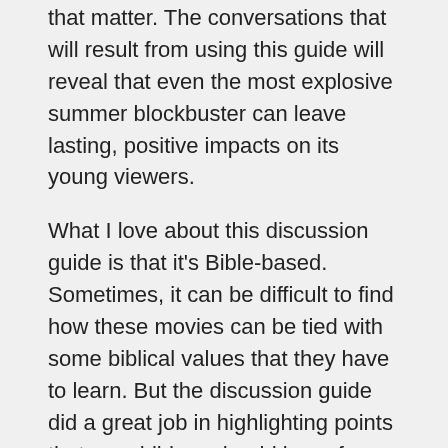that matter. The conversations that will result from using this guide will reveal that even the most explosive summer blockbuster can leave lasting, positive impacts on its young viewers.
What I love about this discussion guide is that it's Bible-based. Sometimes, it can be difficult to find how these movies can be tied with some biblical values that they have to learn. But the discussion guide did a great job in highlighting points that our children should learn from the movie.
Download the Amazing SpiderMan 2 Discussion Guide now! Be sure to visit the official website at TheAmazingSpiderman.com, and check them out on Facebook and Twitter!